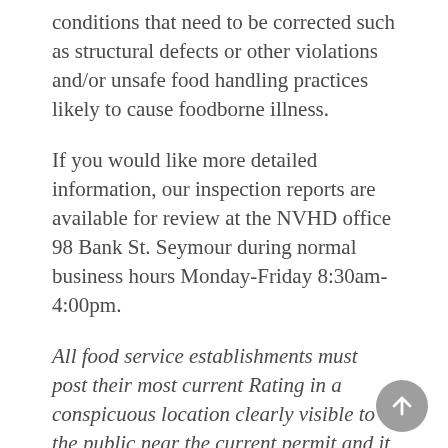conditions that need to be corrected such as structural defects or other violations and/or unsafe food handling practices likely to cause foodborne illness.
If you would like more detailed information, our inspection reports are available for review at the NVHD office 98 Bank St. Seymour during normal business hours Monday-Friday 8:30am-4:00pm.
All food service establishments must post their most current Rating in a conspicuous location clearly visible to the public near the current permit and it must remain posted until the next scheduled inspection. If the owner or Qualified